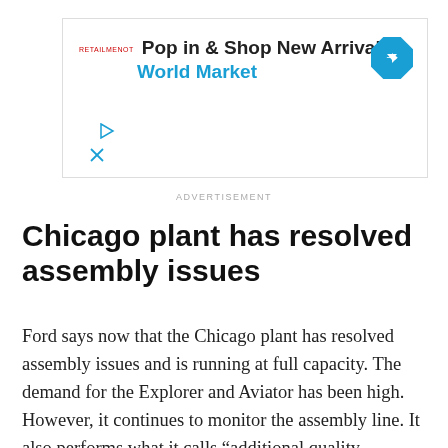[Figure (other): Advertisement banner for World Market: 'Pop in & Shop New Arrivals / World Market' with a blue navigation arrow icon, play and close icons.]
ADVERTISEMENT
Chicago plant has resolved assembly issues
Ford says now that the Chicago plant has resolved assembly issues and is running at full capacity. The demand for the Explorer and Aviator has been high. However, it continues to monitor the assembly line. It also performs what it calls “additional quality inspections as needed on some Ford Explorers, Lincoln